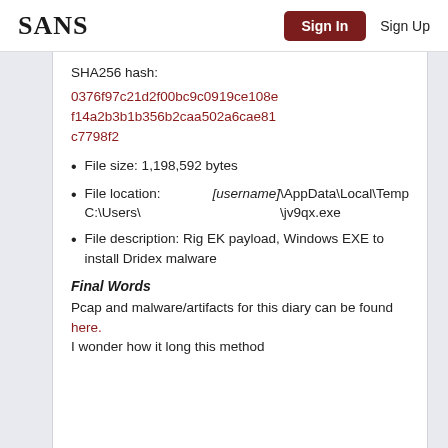SANS | Sign In | Sign Up
SHA256 hash:
0376f97c21d2f00bc9c0919ce108ef14a2b3b1b356b2caa502a6cae81c7798f2
File size: 1,198,592 bytes
File location: C:\Users\[username]\AppData\Local\Temp\jv9qx.exe
File description: Rig EK payload, Windows EXE to install Dridex malware
Final Words
Pcap and malware/artifacts for this diary can be found here. I wonder how it long this method